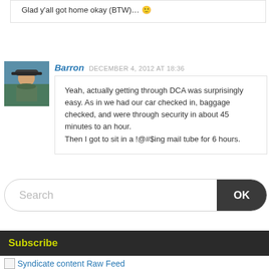Glad y'all got home okay (BTW)… 🙂
Barron  DECEMBER 4, 2012 AT 18:36
[Figure (photo): Avatar photo of Barron, person with hat and green background]
Yeah, actually getting through DCA was surprisingly easy. As in we had our car checked in, baggage checked, and were through security in about 45 minutes to an hour.
Then I got to sit in a !@#$ing mail tube for 6 hours.
Search
OK
Subscribe
Syndicate content Raw Feed